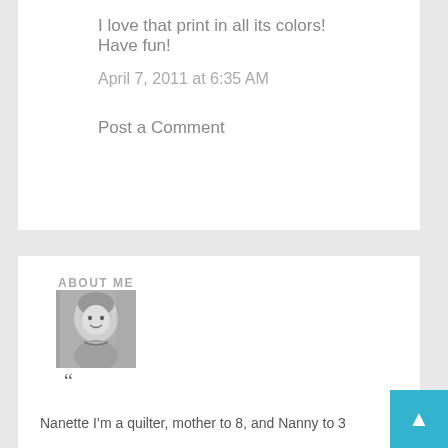I love that print in all its colors! Have fun!
April 7, 2011 at 6:35 AM
Post a Comment
ABOUT ME
[Figure (photo): Black and white photo of a young child with curly hair, smiling]
“
Nanette I'm a quilter, mother to 8, and Nanny to 3